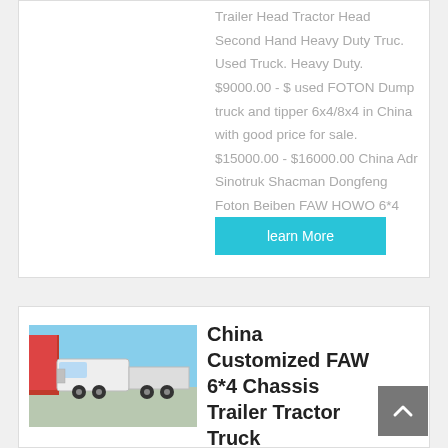Trailer Head Tractor Head Second Hand Heavy Duty Truc. Used Truck. Heavy Duty. $9000.00 - $ used FOTON Dump truck and tipper 6x4/8x4 in China with good price for sale. $15000.00 - $16000.00 China Adr Sinotruk Shacman Dongfeng Foton Beiben FAW HOWO 6*4 Chassis 20000liters
learn More
[Figure (photo): Photo of a white FAW 6x4 chassis trailer tractor truck parked in front of a building with a red facade]
China Customized FAW 6*4 Chassis Trailer Tractor Truck